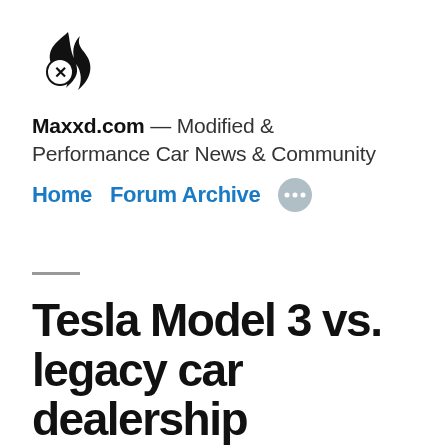[Figure (logo): Maxxd.com flame logo with X emblem, black and white stylized fire icon]
Maxxd.com — Modified & Performance Car News & Community
Home   Forum Archive   •••
Tesla Model 3 vs. legacy car dealership salesmen in reaction video